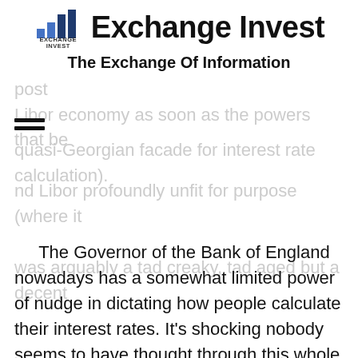Exchange Invest – The Exchange Of Information
[Figure (logo): Exchange Invest bar chart logo with text 'EXCHANGE INVEST' below]
open market, a regulator can dictate the s. Market economies provoke choice. C as, always busy to be and neutral a post Libor economy as soon as the powers that be nd Libor profoundly unfit for purpose (where it was arguably a tad creaky, tad aged but a decent quasi-Georgian facade for interest rate calculation).
The Governor of the Bank of England nowadays has a somewhat limited power of nudge in dictating how people calculate their interest rates. It's shocking nobody seems to have thought through this whole process on the blob side of the regulatory balance sheet as they